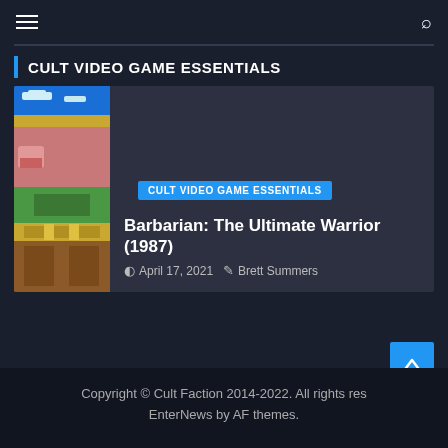≡  🔍
CULT VIDEO GAME ESSENTIALS
[Figure (screenshot): Website card showing a pixel art game screenshot on the left side strip with a dark grey content area on the right, containing a blue category tag, article title, and metadata]
CULT VIDEO GAME ESSENTIALS
Barbarian: The Ultimate Warrior (1987)
April 17, 2021  Brett Summers
Copyright © Cult Faction 2014-2022. All rights res EnterNews by AF themes.